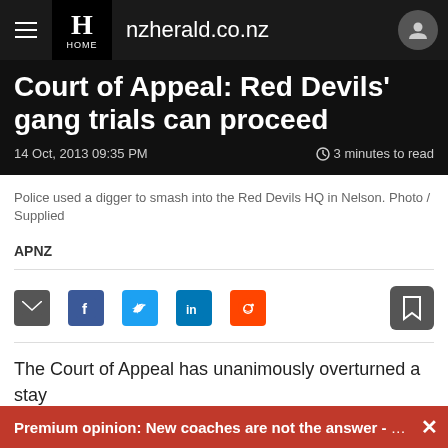nzherald.co.nz
Court of Appeal: Red Devils' gang trials can proceed
14 Oct, 2013 09:35 PM  ⏱ 3 minutes to read
Police used a digger to smash into the Red Devils HQ in Nelson. Photo / Supplied
APNZ
[Figure (screenshot): Social share icons: email, Facebook, Twitter, LinkedIn, Reddit, and a bookmark button]
The Court of Appeal has unanimously overturned a stay
Premium opinion: New coaches are not the answer - here